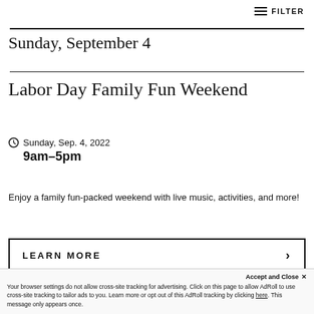≡ FILTER
Sunday, September 4
Labor Day Family Fun Weekend
Sunday, Sep. 4, 2022
9am–5pm
Enjoy a family fun-packed weekend with live music, activities, and more!
LEARN MORE
Accept and Close ✕
Your browser settings do not allow cross-site tracking for advertising. Click on this page to allow AdRoll to use cross-site tracking to tailor ads to you. Learn more or opt out of this AdRoll tracking by clicking here. This message only appears once.